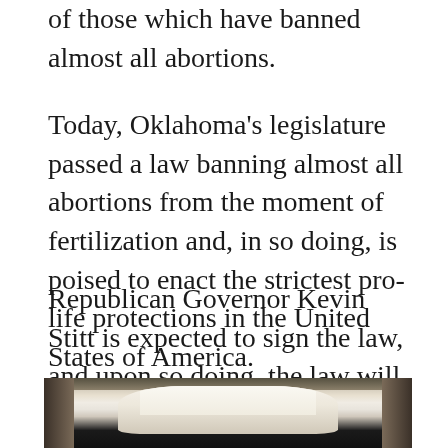of those which have banned almost all abortions.
Today, Oklahoma's legislature passed a law banning almost all abortions from the moment of fertilization and, in so doing, is poised to enact the strictest pro-life protections in the United States of America.
Republican Governor Kevin Stitt is expected to sign the law, and upon so doing, the law will go into immediate effect.
[Figure (photo): Close-up photo of a person's mouth/teeth smiling, dark background]